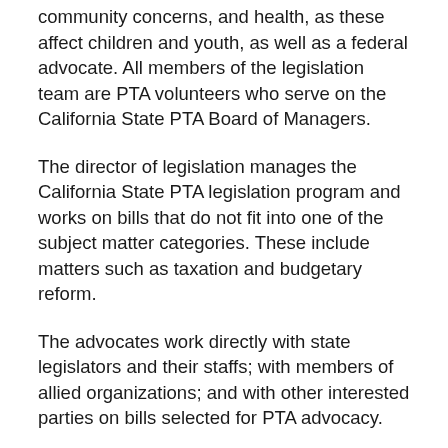community concerns, and health, as these affect children and youth, as well as a federal advocate. All members of the legislation team are PTA volunteers who serve on the California State PTA Board of Managers.
The director of legislation manages the California State PTA legislation program and works on bills that do not fit into one of the subject matter categories. These include matters such as taxation and budgetary reform.
The advocates work directly with state legislators and their staffs; with members of allied organizations; and with other interested parties on bills selected for PTA advocacy.
Commissions are responsible for preparing background information and authority for bills in their subject matter area and for recommending appropriate action. Advocates select bills that are sent to members of the legislation action committee for detailed study.